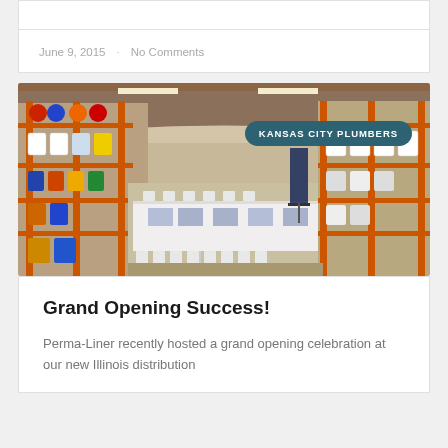June 9, 2015  ·  No Comments
[Figure (photo): Interior of a warehouse distribution center with tall orange metal shelving stocked with barrels and cylindrical containers in various colors. Long white tables with folding chairs are set up in the center aisle, covered with printed materials for an event. A banner stand is visible in the background. A 'KANSAS CITY PLUMBERS' badge overlay appears in the upper right.]
Grand Opening Success!
Perma-Liner recently hosted a grand opening celebration at our new Illinois distribution